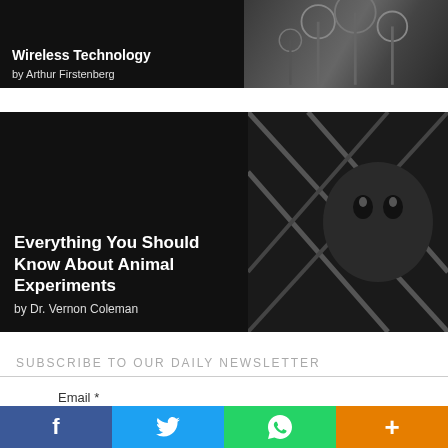[Figure (photo): Book banner with dark background showing satellite dishes on right side. Title text overlay: 'Wireless Technology by Arthur Firstenberg']
[Figure (photo): Book banner with dark background showing a monkey behind cage bars on right side. Title text overlay: 'Everything You Should Know About Animal Experiments by Dr. Vernon Coleman']
SUBSCRIBE TO OUR DAILY NEWSLETTER
Email *
[Figure (infographic): Social media sharing bar with Facebook, Twitter, WhatsApp, and plus icons]